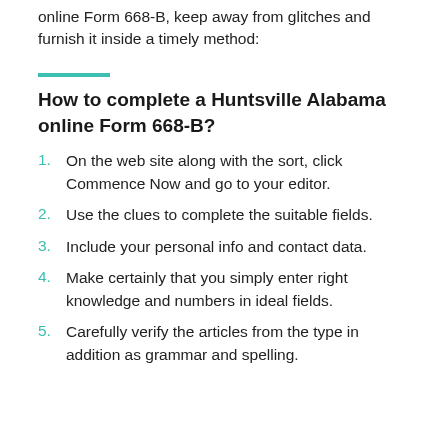online Form 668-B, keep away from glitches and furnish it inside a timely method:
How to complete a Huntsville Alabama online Form 668-B?
On the web site along with the sort, click Commence Now and go to your editor.
Use the clues to complete the suitable fields.
Include your personal info and contact data.
Make certainly that you simply enter right knowledge and numbers in ideal fields.
Carefully verify the articles from the type in addition as grammar and spelling.